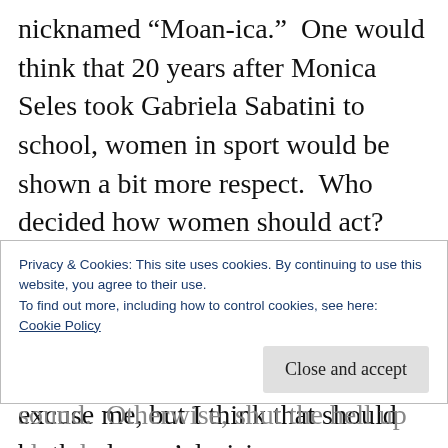nicknamed “Moan-ica.”  One would think that 20 years after Monica Seles took Gabriela Sabatini to school, women in sport would be shown a bit more respect.  Who decided how women should act?  Who decided grunting wasn’t appropriate behavior for women?  When did announcers decide how the players should play?  Hmmmm, excuse me, but I think that should be the players’ decision.  The fifties image of the graceful feminine lady tennis player should be the furthest thing from
Privacy & Cookies: This site uses cookies. By continuing to use this website, you agree to their use.
To find out more, including how to control cookies, see here:
Cookie Policy
sound.  Otherwise, shut the hell up already.